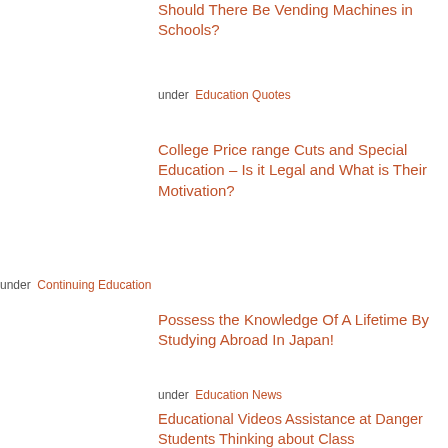Should There Be Vending Machines in Schools?
under Education Quotes
College Price range Cuts and Special Education – Is it Legal and What is Their Motivation?
under Continuing Education
Possess the Knowledge Of A Lifetime By Studying Abroad In Japan!
under Education News
Educational Videos Assistance at Danger Students Thinking about Class
under Education News
The Meaning and Purpose of